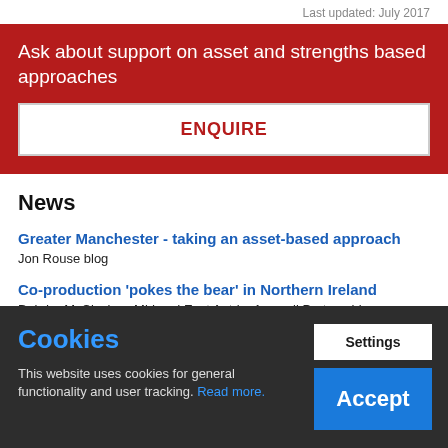Last updated: July 2017
Ask about support on asset and strengths based approaches
ENQUIRE
News
Greater Manchester - taking an asset-based approach
Jon Rouse blog
Co-production 'pokes the bear' in Northern Ireland
Deirdre McCloskey, Mid and East Antrim Agewell Partnership -
Cookies
This website uses cookies for general functionality and user tracking. Read more.
Settings
Accept